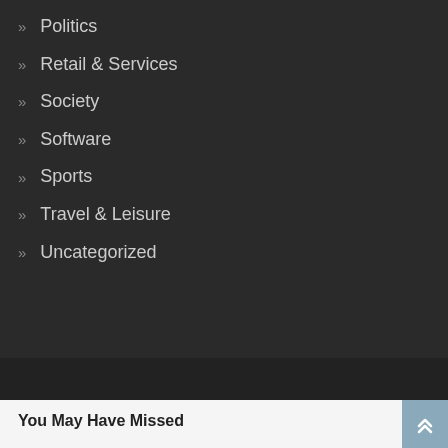Politics
Retail & Services
Society
Software
Sports
Travel & Leisure
Uncategorized
You May Have Missed